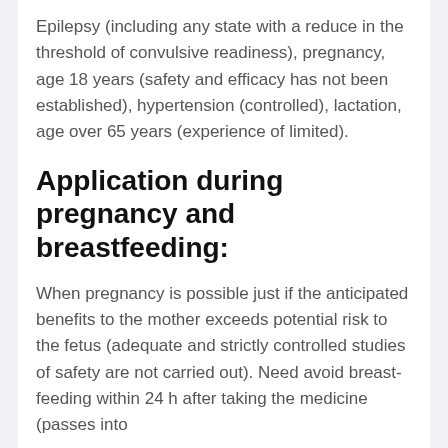Epilepsy (including any state with a reduce in the threshold of convulsive readiness), pregnancy, age 18 years (safety and efficacy has not been established), hypertension (controlled), lactation, age over 65 years (experience of limited).
Application during pregnancy and breastfeeding:
When pregnancy is possible just if the anticipated benefits to the mother exceeds potential risk to the fetus (adequate and strictly controlled studies of safety are not carried out). Need avoid breast-feeding within 24 h after taking the medicine (passes into